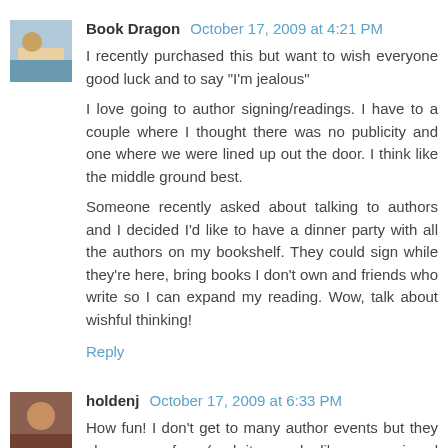Book Dragon  October 17, 2009 at 4:21 PM
I recently purchased this but want to wish everyone good luck and to say "I'm jealous"
I love going to author signing/readings. I have to a couple where I thought there was no publicity and one where we were lined up out the door. I think like the middle ground best.
Someone recently asked about talking to authors and I decided I'd like to have a dinner party with all the authors on my bookshelf. They could sign while they're here, bring books I don't own and friends who write so I can expand my reading. Wow, talk about wishful thinking!
Reply
holdenj  October 17, 2009 at 6:33 PM
How fun! I don't get to many author events but they always are fun. (and it sounds like you enjoyed yourself!) Thanks for the giveaway!